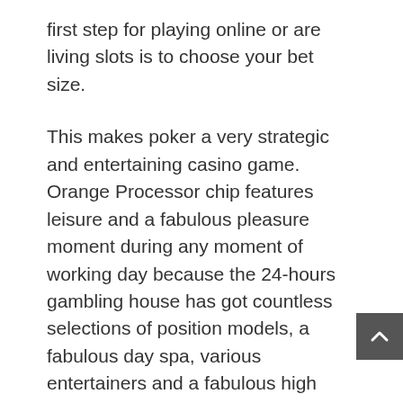first step for playing online or are living slots is to choose your bet size.
This makes poker a very strategic and entertaining casino game. Orange Processor chip features leisure and a fabulous pleasure moment during any moment of working day because the 24-hours gambling house has got countless selections of position models, a fabulous day spa, various entertainers and a fabulous high class lodge. You can carry out all you want to go away the time or perhaps to get your gambling house fix and you'll actually think fine afterward instead of this huge sense of regret. As a total result, two of the most reputable application programmers have taken the initiative of delivering people with the initial video games in VR Casinos...